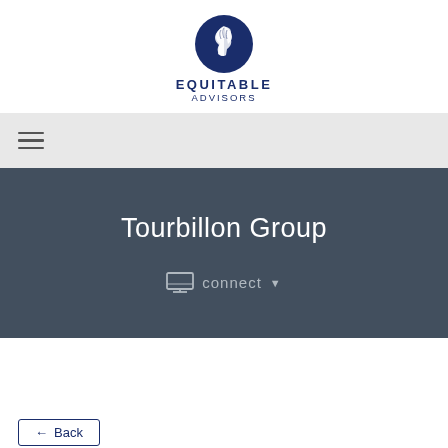[Figure (logo): Equitable Advisors logo with circular emblem featuring a horse/lion figure and text EQUITABLE ADVISORS below]
[Figure (other): Hamburger menu icon (three horizontal lines) in a light gray navigation bar]
Tourbillon Group
connect
← Back